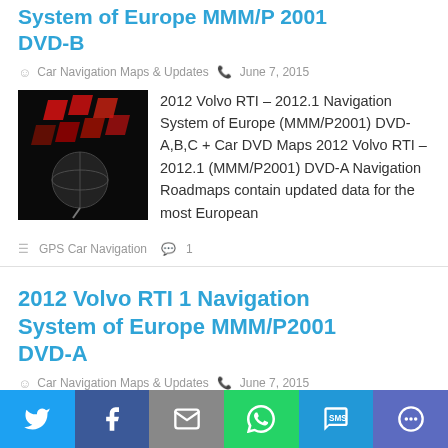System of Europe MMM/P 2001 DVD-B
Car Navigation Maps & Updates  June 7, 2015
[Figure (photo): Dark themed thumbnail showing a red and black 3D globe/navigation graphic]
2012 Volvo RTI – 2012.1 Navigation System of Europe (MMM/P2001) DVD-A,B,C + Car DVD Maps 2012 Volvo RTI – 2012.1 (MMM/P2001) DVD-A Navigation Roadmaps contain updated data for the most European
GPS Car Navigation  1
2012 Volvo RTI 1 Navigation System of Europe MMM/P2001 DVD-A
Car Navigation Maps & Updates  June 7, 2015